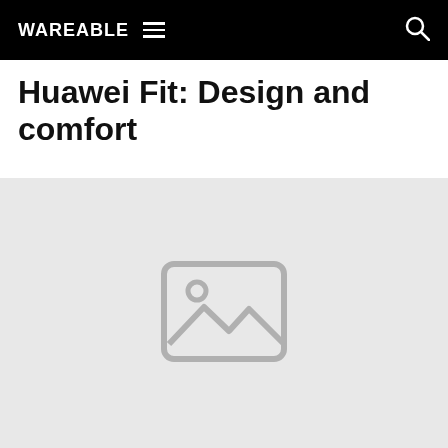WAREABLE
Huawei Fit: Design and comfort
[Figure (photo): Placeholder image with a generic image icon (mountain landscape and sun symbol) on a light grey background]